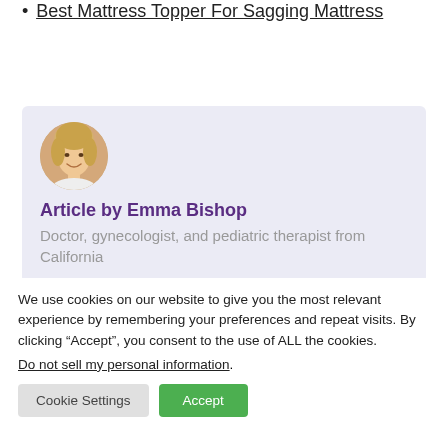Best Mattress Topper For Sagging Mattress
[Figure (photo): Circular portrait photo of a young blonde woman smiling]
Article by Emma Bishop
Doctor, gynecologist, and pediatric therapist from California
We use cookies on our website to give you the most relevant experience by remembering your preferences and repeat visits. By clicking “Accept”, you consent to the use of ALL the cookies.
Do not sell my personal information.
Cookie Settings | Accept